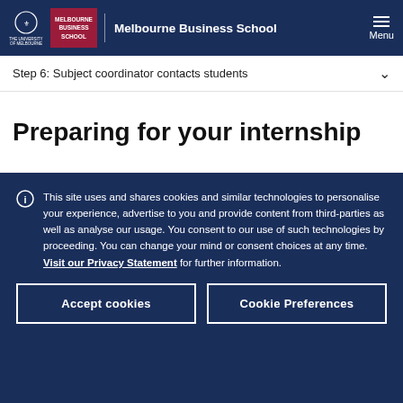Melbourne Business School
Step 6: Subject coordinator contacts students
Preparing for your internship
This site uses and shares cookies and similar technologies to personalise your experience, advertise to you and provide content from third-parties as well as analyse our usage. You consent to our use of such technologies by proceeding. You can change your mind or consent choices at any time. Visit our Privacy Statement for further information.
Accept cookies
Cookie Preferences